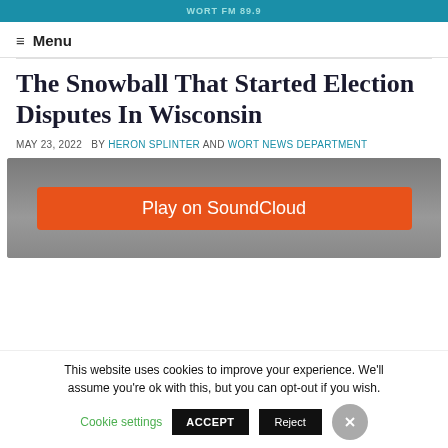WORT FM 89.9
≡ Menu
The Snowball That Started Election Disputes In Wisconsin
MAY 23, 2022  BY HERON SPLINTER AND WORT NEWS DEPARTMENT
[Figure (screenshot): SoundCloud embedded player with orange Play on SoundCloud button on grey background]
This website uses cookies to improve your experience. We'll assume you're ok with this, but you can opt-out if you wish. Cookie settings  ACCEPT  Reject